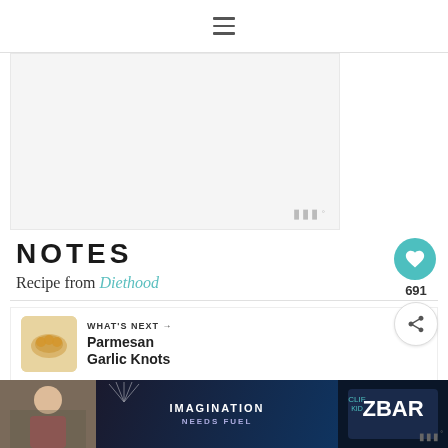≡
[Figure (other): Gray advertisement placeholder box with watermark logo at bottom right]
NOTES
Recipe from Diethood
[Figure (other): Heart/like button (teal circle) with count 691 and share button below]
[Figure (other): What's Next banner showing Parmesan Garlic Knots thumbnail and title]
[Figure (other): Advertisement banner at bottom: ZBar Imagination Needs Fuel ad on dark background]